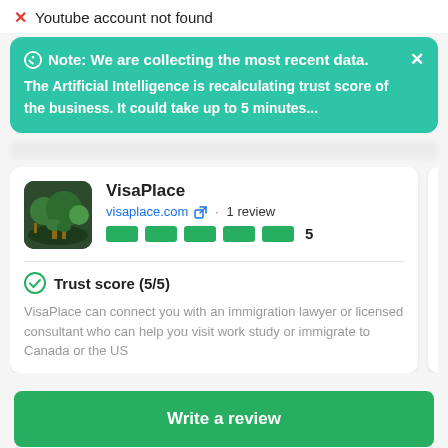✗ Youtube account not found
Note: We are collecting the most recent data. The Artificial Intelligence is recalculating trust score of the business. It could take up to 5 minutes...
VisaPlace
visaplace.com · 1 review
5
Trust score (5/5)
VisaPlace can connect you with an immigration lawyer or licensed consultant who can help you visit work study or immigrate to Canada or the US
trav
trav
Trust score (5
Write a review